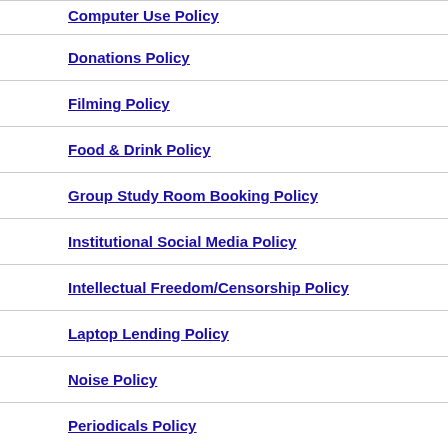Computer Use Policy
Donations Policy
Filming Policy
Food & Drink Policy
Group Study Room Booking Policy
Institutional Social Media Policy
Intellectual Freedom/Censorship Policy
Laptop Lending Policy
Noise Policy
Periodicals Policy
Reference Service Policy